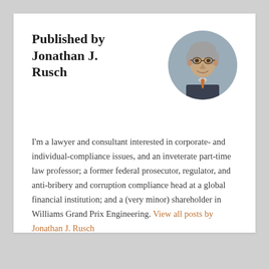Published by Jonathan J. Rusch
[Figure (photo): Circular headshot photo of Jonathan J. Rusch, a middle-aged man with grey hair wearing glasses and a suit with an orange tie]
I'm a lawyer and consultant interested in corporate- and individual-compliance issues, and an inveterate part-time law professor; a former federal prosecutor, regulator, and anti-bribery and corruption compliance head at a global financial institution; and a (very minor) shareholder in Williams Grand Prix Engineering. View all posts by Jonathan J. Rusch